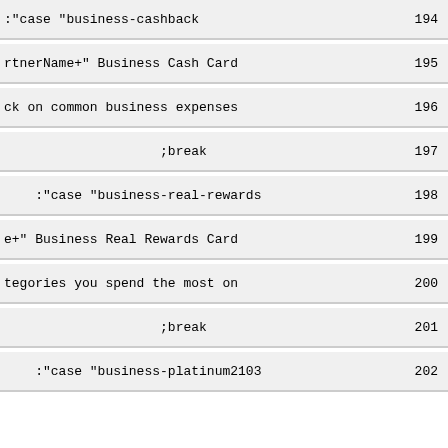:"case "business-cashback    194
rtnerName+" Business Cash Card    195
ck on common business expenses    196
;break    197
:"case "business-real-rewards    198
e+" Business Real Rewards Card    199
tegories you spend the most on    200
;break    201
:"case "business-platinum2103    202